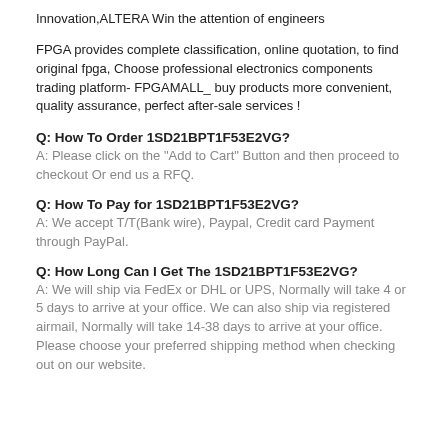Innovation,ALTERA Win the attention of engineers
FPGA provides complete classification, online quotation, to find original fpga, Choose professional electronics components trading platform- FPGAMALL_ buy products more convenient, quality assurance, perfect after-sale services !
Q: How To Order 1SD21BPT1F53E2VG?
A: Please click on the "Add to Cart" Button and then proceed to checkout Or end us a RFQ.
Q: How To Pay for 1SD21BPT1F53E2VG?
A: We accept T/T(Bank wire), Paypal, Credit card Payment through PayPal.
Q: How Long Can I Get The 1SD21BPT1F53E2VG?
A: We will ship via FedEx or DHL or UPS, Normally will take 4 or 5 days to arrive at your office. We can also ship via registered airmail, Normally will take 14-38 days to arrive at your office. Please choose your preferred shipping method when checking out on our website.